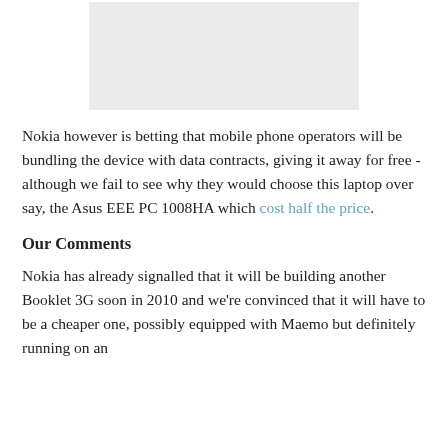[Figure (other): Gray rectangular placeholder image]
Nokia however is betting that mobile phone operators will be bundling the device with data contracts, giving it away for free - although we fail to see why they would choose this laptop over say, the Asus EEE PC 1008HA which cost half the price.
Our Comments
Nokia has already signalled that it will be building another Booklet 3G soon in 2010 and we're convinced that it will have to be a cheaper one, possibly equipped with Maemo but definitely running on an